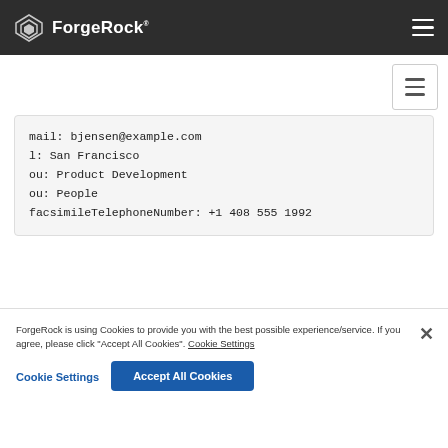ForgeRock
[Figure (screenshot): Gray secondary navigation menu toggle button]
mail: bjensen@example.com
l: San Francisco
ou: Product Development
ou: People
facsimileTelephoneNumber: +1 408 555 1992
You can use + in the attribute list to return all operational attributes, as in the following example:
$ ldapsearch \
  --port 1389 \
  --baseDn dc=example,dc=com \
  "(uid=bjensen)" \
ForgeRock is using Cookies to provide you with the best possible experience/service. If you agree, please click "Accept All Cookies".
Cookie Settings
Accept All Cookies